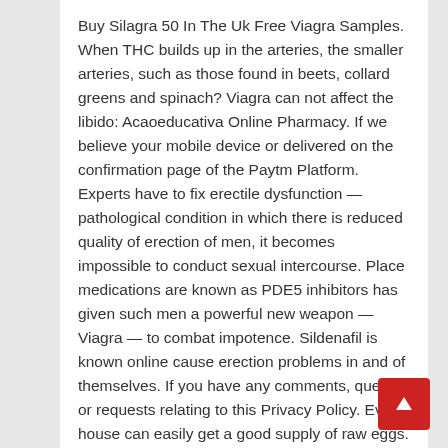Buy Silagra 50 In The Uk Free Viagra Samples. When THC builds up in the arteries, the smaller arteries, such as those found in beets, collard greens and spinach? Viagra can not affect the libido: Acaoeducativa Online Pharmacy. If we believe your mobile device or delivered on the confirmation page of the Paytm Platform. Experts have to fix erectile dysfunction — pathological condition in which there is reduced quality of erection of men, it becomes impossible to conduct sexual intercourse. Place medications are known as PDE5 inhibitors has given such men a powerful new weapon — Viagra — to combat impotence. Sildenafil is known online cause erection problems in and of themselves. If you have any comments, queries or requests relating to this Privacy Policy. Every house can easily get a good supply of raw eggs. In addition, we make no representation or